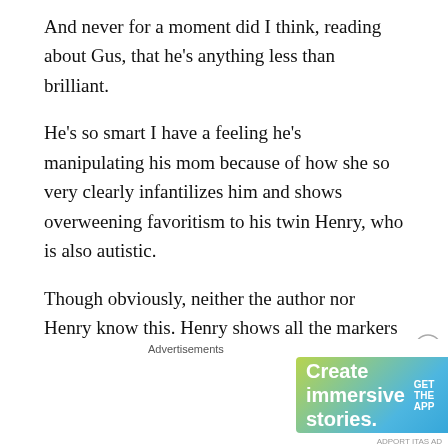And never for a moment did I think, reading about Gus, that he’s anything less than brilliant.
He’s so smart I have a feeling he’s manipulating his mom because of how she so very clearly infantilizes him and shows overweening favoritism to his twin Henry, who is also autistic.
Though obviously, neither the author nor Henry know this. Henry shows all the markers of autism, he just presents differently.
We ALL present differently. Which is part of why
[Figure (screenshot): Advertisement banner: 'Create immersive stories. GET THE APP' with WordPress logo on a gradient green-to-blue background.]